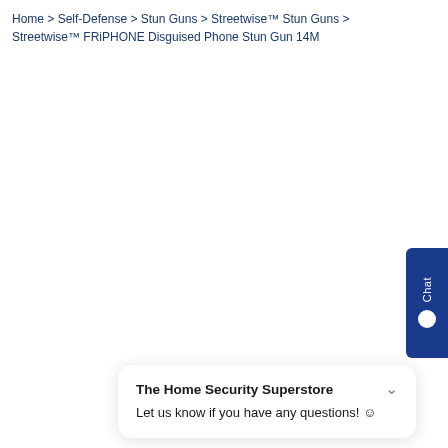Home > Self-Defense > Stun Guns > Streetwise™ Stun Guns > Streetwise™ FRiPHONE Disguised Phone Stun Gun 14M
[Figure (screenshot): Chat widget tab on the right side of the page with dark blue background and 'Chat' text rotated vertically, with a speech bubble icon.]
[Figure (screenshot): Chat popup from The Home Security Superstore with message: Let us know if you have any questions! and a smiley face emoji. Includes a shield logo with a lock icon.]